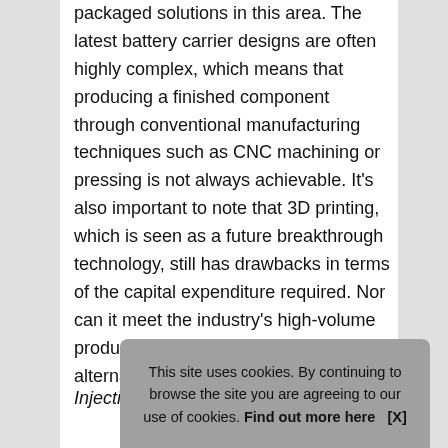packaged solutions in this area. The latest battery carrier designs are often highly complex, which means that producing a finished component through conventional manufacturing techniques such as CNC machining or pressing is not always achievable. It's also important to note that 3D printing, which is seen as a future breakthrough technology, still has drawbacks in terms of the capital expenditure required. Nor can it meet the industry's high-volume production demands. So, what is the alternative?
Injectio
This site uses cookies. By continuing to browse the site you are agreeing to our use of cookies. Find out more here   [X]